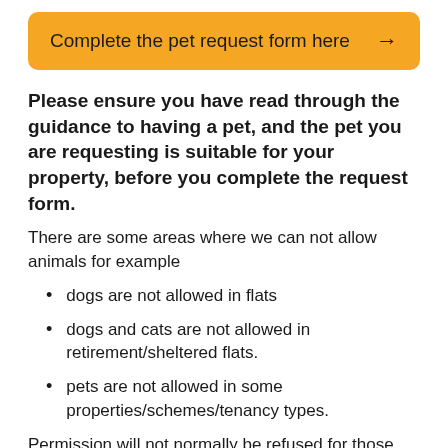[Figure (other): Orange/amber button banner with text 'Complete the pet request form here' and a right arrow]
Please ensure you have read through the guidance to having a pet, and the pet you are requesting is suitable for your property, before you complete the request form.
There are some areas where we can not allow animals for example
dogs are not allowed in flats
dogs and cats are not allowed in retirement/sheltered flats.
pets are not allowed in some properties/schemes/tenancy types.
Permission will not normally be refused for those